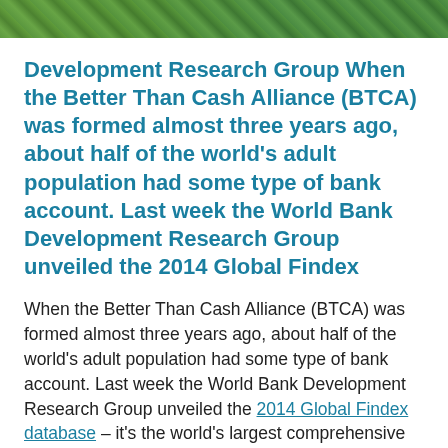[Figure (photo): Partial photo strip at the top of the page showing green foliage or vegetation]
Development Research Group When the Better Than Cash Alliance (BTCA) was formed almost three years ago, about half of the world's adult population had some type of bank account. Last week the World Bank Development Research Group unveiled the 2014 Global Findex
When the Better Than Cash Alliance (BTCA) was formed almost three years ago, about half of the world's adult population had some type of bank account. Last week the World Bank Development Research Group unveiled the 2014 Global Findex database – it's the world's largest comprehensive gauge of global progress on financial inclusion.